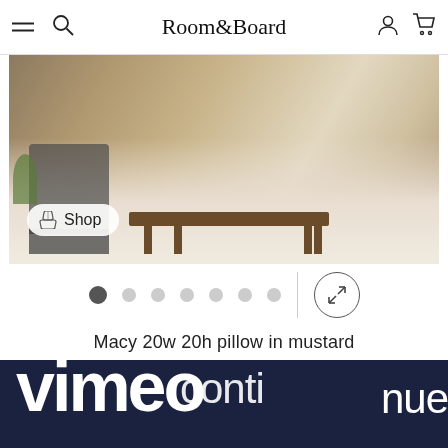Room&Board navigation bar with hamburger menu, search, logo, account, and cart icons
[Figure (photo): Room&Board lifestyle photo showing mid-century modern furniture including a coffee table and chairs on a light rug, with a 'Shop' button overlay]
[Figure (other): Carousel navigation with 7 dots (first active) and an expand/fullscreen button]
Macy 20w 20h pillow in mustard
[Figure (screenshot): Vimeo CAPTCHA overlay on dark navy background showing 'vimeo' logo text overlapping with 'continue' text]
We detected a high number of errors from your connection. To continue, please confirm that youâ€™re a human (and not a spambot).